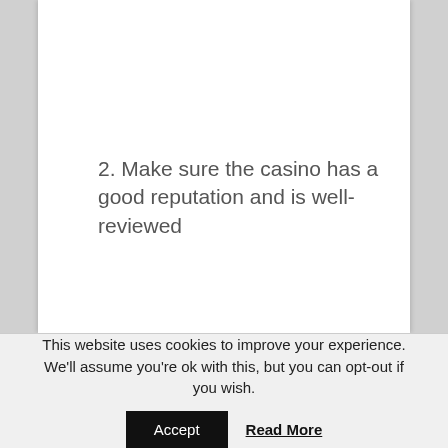2. Make sure the casino has a good reputation and is well-reviewed
This website uses cookies to improve your experience. We'll assume you're ok with this, but you can opt-out if you wish.
Accept
Read More